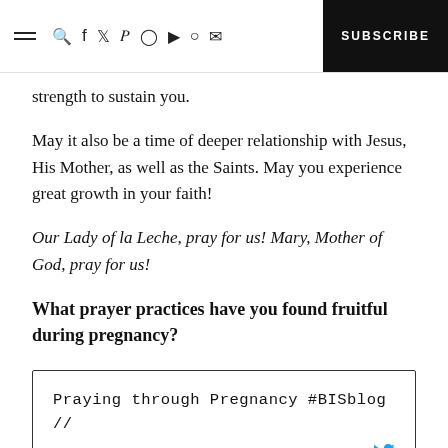SUBSCRIBE
strength to sustain you.
May it also be a time of deeper relationship with Jesus, His Mother, as well as the Saints. May you experience great growth in your faith!
Our Lady of la Leche, pray for us! Mary, Mother of God, pray for us!
What prayer practices have you found fruitful during pregnancy?
Praying through Pregnancy #BISblog // CLICK TO TWEET